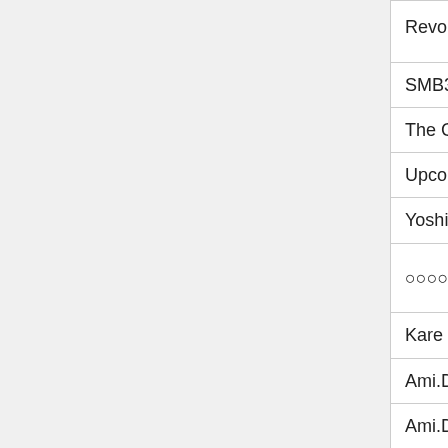| Title | Genre |
| --- | --- |
| Revolution! | Simulation; Tabletop; Tutorial |
| SMB3 Freaky Halloween Short | Comedy |
| The Chicken Song | Music Video |
| Upcoming Events Movie | Comedy |
| Yoshi Movie! (Yoshi and the Fattening Fruit) | Comedy |
| ○○○○○○flash○○○○○○ | Adult; Sexual Content; Anime |
| Kare Kano Spank | Adult; Sexual Content |
| Ami.D Class Fap | Adult |
| Ami.D Tentacles | Adult |
| June Levan Song (Hasane Miku vers.) | Comedy |